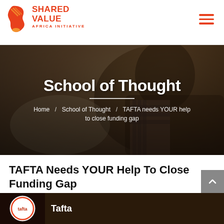SHARED VALUE AFRICA INITIATIVE
[Figure (photo): Hero banner with dark background showing a man working on a laptop, overlaid with the text 'School of Thought' and breadcrumb navigation.]
TAFTA Needs YOUR Help To Close Funding Gap
22.02.2021
[Figure (screenshot): Bottom media strip showing TAFTA logo circle and the text 'Tafta' on a dark brown background.]